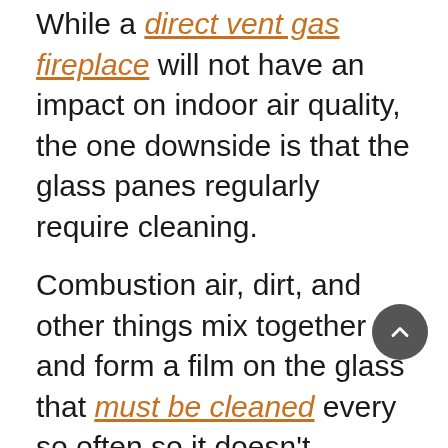While a direct vent gas fireplace will not have an impact on indoor air quality, the one downside is that the glass panes regularly require cleaning.
Combustion air, dirt, and other things mix together and form a film on the glass that must be cleaned every so often so it doesn't obstruct your view. The tricky part comes when you try to remove the glass from your fireplace to clean it. For many people, removing the glass is the most complicated part. So, we wrote this article for those of